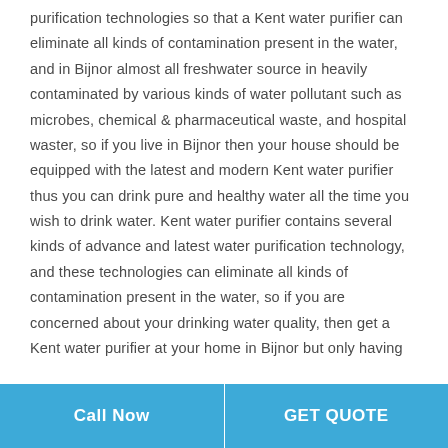purification technologies so that a Kent water purifier can eliminate all kinds of contamination present in the water, and in Bijnor almost all freshwater source in heavily contaminated by various kinds of water pollutant such as microbes, chemical & pharmaceutical waste, and hospital waster, so if you live in Bijnor then your house should be equipped with the latest and modern Kent water purifier thus you can drink pure and healthy water all the time you wish to drink water. Kent water purifier contains several kinds of advance and latest water purification technology, and these technologies can eliminate all kinds of contamination present in the water, so if you are concerned about your drinking water quality, then get a Kent water purifier at your home in Bijnor but only having
Call Now | GET QUOTE